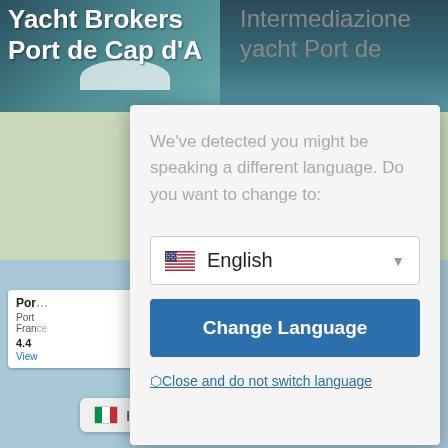[Figure (screenshot): Background screenshot of a yacht brokers website showing 'Yacht Brokers Port de Cap d'A...' header and 'Intermediazione yacht Port de' text in Italian, with a Google Maps view below showing the Cap d'Ail - Monaco Border area near Èze and Jean-Cap-Ferrat]
We've detected you might be speaking a different language. Do you want to change to:
English
Change Language
⬡Close and do not switch language
Italiano